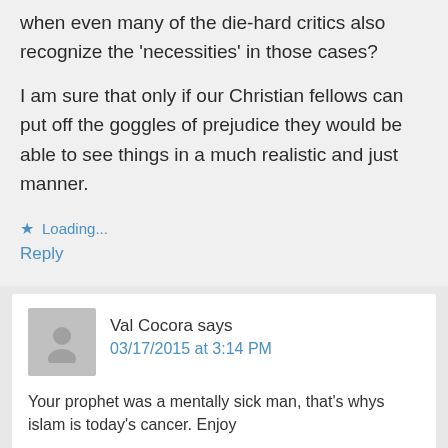when even many of the die-hard critics also recognize the 'necessities' in those cases?
I am sure that only if our Christian fellows can put off the goggles of prejudice they would be able to see things in a much realistic and just manner.
★ Loading...
Reply
Val Cocora says
03/17/2015 at 3:14 PM
Your prophet was a mentally sick man, that's whys islam is today's cancer. Enjoy